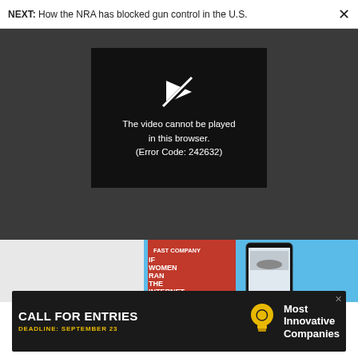NEXT: How the NRA has blocked gun control in the U.S.
[Figure (screenshot): Video player error screen showing a broken video icon and error message: 'The video cannot be played in this browser. (Error Code: 242632)']
The video cannot be played in this browser. (Error Code: 242632)
[Figure (photo): Fast Company magazine advertisement showing magazine cover and mobile app on blue background]
[Figure (infographic): Black advertisement banner: 'CALL FOR ENTRIES - DEADLINE: SEPTEMBER 23 - Most Innovative Companies' with lightbulb icon]